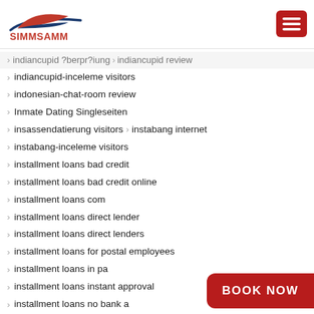[Figure (logo): SIMMSAMM logo with red and blue stylized wing/swoosh and bold red text SIMMSAMM]
[Figure (other): Red hamburger menu button with three white horizontal lines]
indiancupid ?berpr?iung > indiancupid review
indiancupid-inceleme visitors
indonesian-chat-room review
Inmate Dating Singleseiten
insassendatierung visitors > instabang internet
instabang-inceleme visitors
installment loans bad credit
installment loans bad credit online
installment loans com
installment loans direct lender
installment loans direct lenders
installment loans for postal employees
installment loans in pa
installment loans instant approval
installment loans no bank a...
installment loans no credit...
Installment Loans Online
BOOK NOW